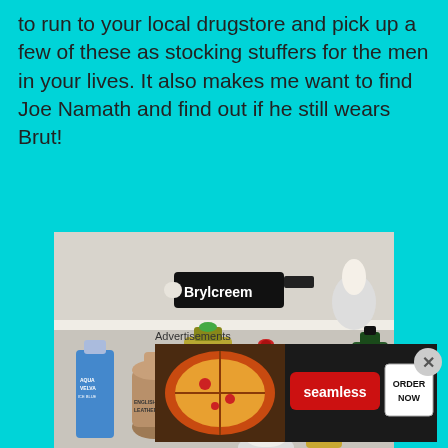to run to your local drugstore and pick up a few of these as stocking stuffers for the men in your lives. It also makes me want to find Joe Namath and find out if he still wears Brut!
[Figure (photo): A shelf with vintage men's grooming products including Brylcreem tube on top shelf, and bottles of Aqua Velva, English Leather, Mennen, Old Spice, a gold-capped bottle, and Brut on the lower shelf.]
Advertisements
[Figure (photo): Seamless food delivery advertisement showing pizza and an ORDER NOW button.]